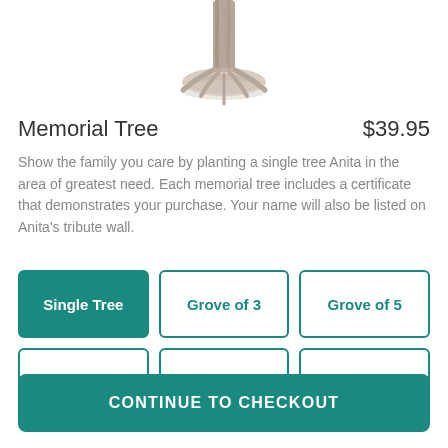[Figure (illustration): Pencil sketch illustration of a tree trunk with roots at the bottom, cropped to show the lower portion of the tree.]
Memorial Tree
$39.95
Show the family you care by planting a single tree Anita in the area of greatest need. Each memorial tree includes a certificate that demonstrates your purchase. Your name will also be listed on Anita's tribute wall.
Single Tree
Grove of 3
Grove of 5
Grove of 10
Grove of 25
Grove of 50
CONTINUE TO CHECKOUT